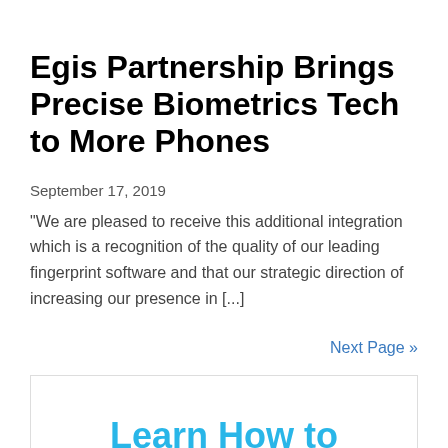Egis Partnership Brings Precise Biometrics Tech to More Phones
September 17, 2019
"We are pleased to receive this additional integration which is a recognition of the quality of our leading fingerprint software and that our strategic direction of increasing our presence in [...]
Next Page »
[Figure (other): Advertisement banner with large cyan/blue text reading 'Learn How to Mitigate' with a reCAPTCHA badge in the lower-right corner showing the reCAPTCHA logo and 'Privacy - Terms' text.]